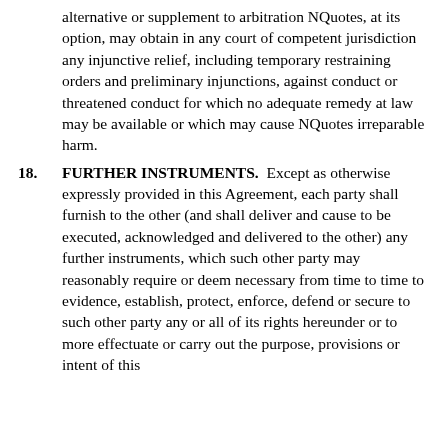alternative or supplement to arbitration NQuotes, at its option, may obtain in any court of competent jurisdiction any injunctive relief, including temporary restraining orders and preliminary injunctions, against conduct or threatened conduct for which no adequate remedy at law may be available or which may cause NQuotes irreparable harm.
18. FURTHER INSTRUMENTS.  Except as otherwise expressly provided in this Agreement, each party shall furnish to the other (and shall deliver and cause to be executed, acknowledged and delivered to the other) any further instruments, which such other party may reasonably require or deem necessary from time to time to evidence, establish, protect, enforce, defend or secure to such other party any or all of its rights hereunder or to more effectuate or carry out the purpose, provisions or intent of this